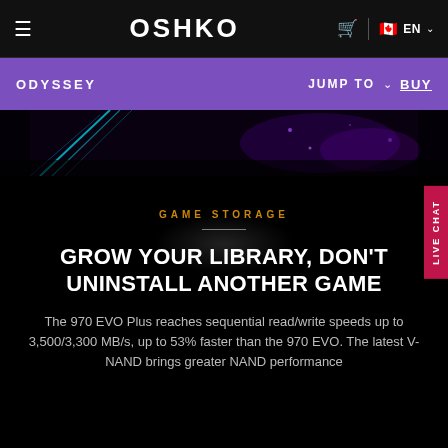OSHKO — Navigation bar with hamburger menu, cart icon, EN language selector
ODYSSEY   JUMP TO ∨   BUY
[Figure (screenshot): Dark hero image strip showing a gaming scene with neon cyan and purple light streaks against a very dark background]
GAME STORAGE
GROW YOUR LIBRARY, DON'T UNINSTALL ANOTHER GAME
The 970 EVO Plus reaches sequential read/write speeds up to 3,500/3,300 MB/s, up to 53% faster than the 970 EVO. The latest V-NAND brings greater NAND performance